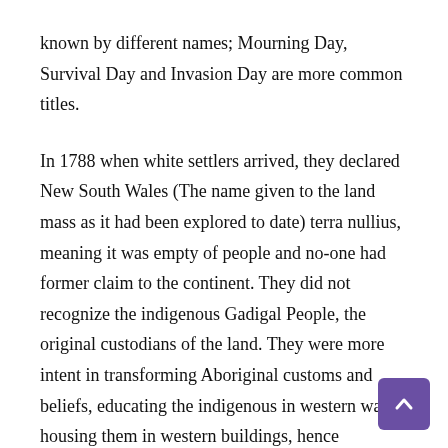known by different names; Mourning Day, Survival Day and Invasion Day are more common titles.
In 1788 when white settlers arrived, they declared New South Wales (The name given to the land mass as it had been explored to date) terra nullius, meaning it was empty of people and no-one had former claim to the continent. They did not recognize the indigenous Gadigal People, the original custodians of the land. They were more intent in transforming Aboriginal customs and beliefs, educating the indigenous in western ways, housing them in western buildings, hence depriving them of their nomadic lifestyle and converting them to Christianity. It is a great testament to the Aboriginal People that their traditions have survived at all.
Today there is a greater respect for the Indigenous population with many of their rituals being integrated into established celebrations. One of these traditions is Woggan-Ma-Gule. This means “Meeting of the Water” and is an early morning ceremony performed in the